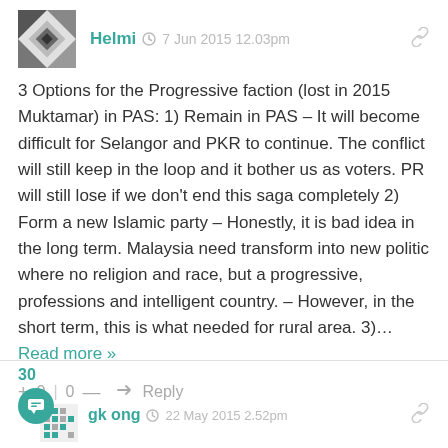[Figure (illustration): User avatar with geometric pattern (quilt-like design in gray and white)]
Helmi  7 Jun 2015 12.03pm
3 Options for the Progressive faction (lost in 2015 Muktamar) in PAS: 1) Remain in PAS – It will become difficult for Selangor and PKR to continue. The conflict will still keep in the loop and it bother us as voters. PR will still lose if we don't end this saga completely 2) Form a new Islamic party – Honestly, it is bad idea in the long term. Malaysia need transform into new politic where no religion and race, but a progressive, professions and intelligent country. – However, in the short term, this is what needed for rural area. 3)… Read more »
+ 0 | 0 —  Reply
30
[Figure (illustration): User avatar with pixelated/dot pattern design, with a teal chat bubble icon overlay]
gk ong  22 May 2015 2.52pm